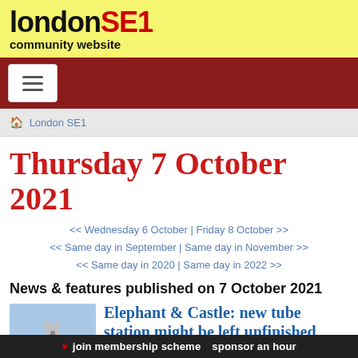[Figure (logo): London SE1 community website logo on yellow background]
[Figure (other): Dark red navigation bar with hamburger menu button]
🏠 London SE1
Thursday 7 October 2021
<< Wednesday 6 October | Friday 8 October >>
<< Same day in September | Same day in November >>
<< Same day in 2020 | Same day in 2022 >>
News & features published on 7 October 2021
[Figure (illustration): Red elephant statue with castle tower on its back, blue sky background]
Elephant & Castle: new tube station might be left unfinished
A new entrance to Elephant & Castle tube station will be built by the developers of the shopping centre site - but it
❤ join membership scheme   sponsor an hour